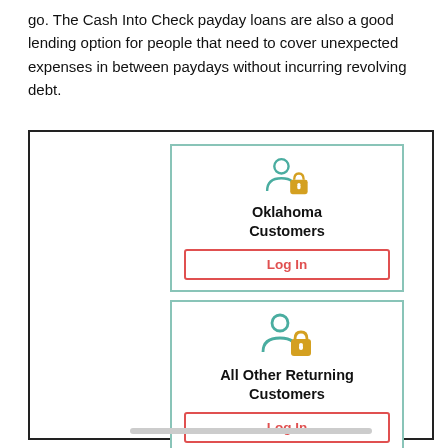go. The Cash Into Check payday loans are also a good lending option for people that need to cover unexpected expenses in between paydays without incurring revolving debt.
[Figure (infographic): Two login card options inside a bordered box. First card: Oklahoma Customers with a person+lock icon and a red-bordered Log In button. Second card: All Other Returning Customers with a person+lock icon and a red-bordered Log In button.]